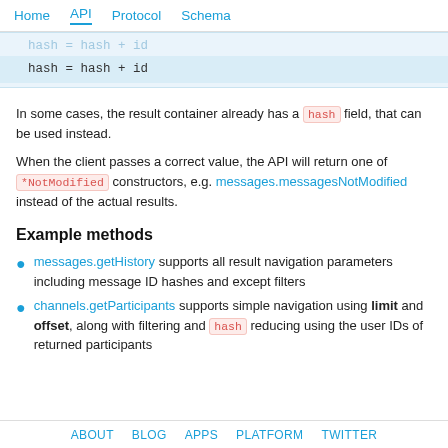Home  API  Protocol  Schema
hash = hash + id  (code block, faded top line and highlighted line)
In some cases, the result container already has a hash field, that can be used instead.
When the client passes a correct value, the API will return one of *NotModified constructors, e.g. messages.messagesNotModified instead of the actual results.
Example methods
messages.getHistory supports all result navigation parameters including message ID hashes and except filters
channels.getParticipants supports simple navigation using limit and offset, along with filtering and hash reducing using the user IDs of returned participants
ABOUT  BLOG  APPS  PLATFORM  TWITTER